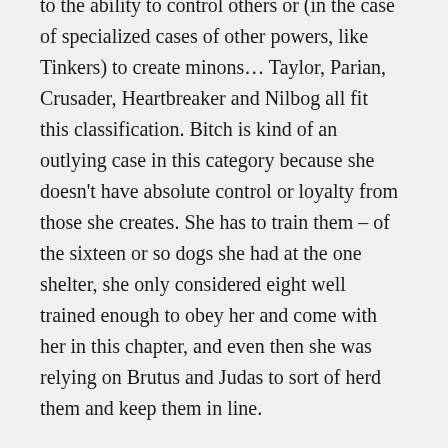to the ability to control others or (in the case of specialized cases of other powers, like Tinkers) to create minons… Taylor, Parian, Crusader, Heartbreaker and Nilbog all fit this classification. Bitch is kind of an outlying case in this category because she doesn't have absolute control or loyalty from those she creates. She has to train them – of the sixteen or so dogs she had at the one shelter, she only considered eight well trained enough to obey her and come with her in this chapter, and even then she was relying on Brutus and Judas to sort of herd them and keep them in line.
The actual number rating depends on the impact/strength of the power, obviously. It's